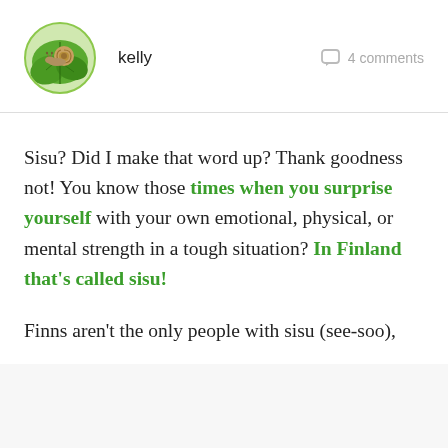[Figure (illustration): Circular avatar with green border showing a snail on a green leaf illustration]
kelly
4 comments
Sisu? Did I make that word up? Thank goodness not! You know those times when you surprise yourself with your own emotional, physical, or mental strength in a tough situation? In Finland that's called sisu!
Finns aren't the only people with sisu (see-soo),